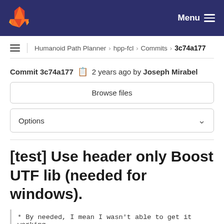GitLab navigation bar with Menu
Humanoid Path Planner > hpp-fcl > Commits > 3c74a177
Commit 3c74a177  2 years ago by Joseph Mirabel
Browse files
Options
[test] Use header only Boost UTF lib (needed for windows).
* By needed, I mean I wasn't able to get it working
parent a2c6b3c7  master  ...